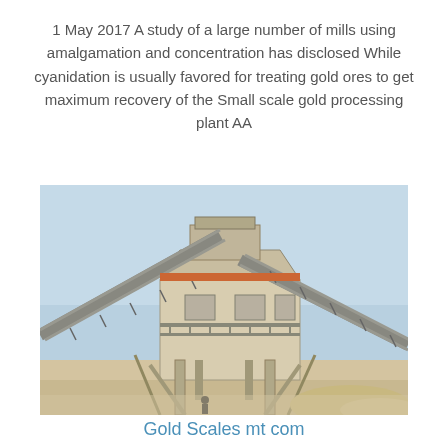1 May 2017 A study of a large number of mills using amalgamation and concentration has disclosed While cyanidation is usually favored for treating gold ores to get maximum recovery of the Small scale gold processing plant AA
[Figure (photo): Photograph of a large industrial gold/mineral processing plant with conveyor belts, machinery, and structural framework against a clear sky]
Gold Scales mt com